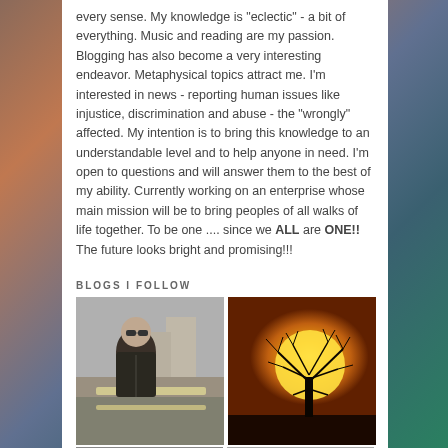every sense. My knowledge is "eclectic" - a bit of everything. Music and reading are my passion. Blogging has also become a very interesting endeavor. Metaphysical topics attract me. I'm interested in news - reporting human issues like injustice, discrimination and abuse - the "wrongly" affected. My intention is to bring this knowledge to an understandable level and to help anyone in need. I'm open to questions and will answer them to the best of my ability. Currently working on an enterprise whose main mission will be to bring peoples of all walks of life together. To be one .... since we ALL are ONE!! The future looks bright and promising!!!
BLOGS I FOLLOW
[Figure (photo): A man wearing a dark leather jacket and sunglasses, standing outdoors near a railing with buildings in background]
[Figure (photo): A lone bare tree silhouetted against a large orange sun at sunset on a flat horizon]